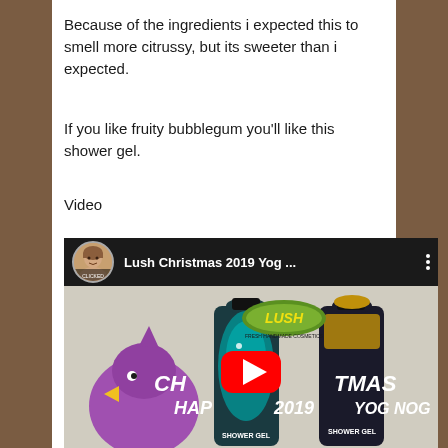Because of the ingredients i expected this to smell more citrussy, but its sweeter than i expected.
If you like fruity bubblegum you'll like this shower gel.
Video
[Figure (screenshot): YouTube video thumbnail showing Lush Christmas 2019 Yog... with channel icon, video title bar, and thumbnail image of Lush shower gel bottles (teal glitter and gold) with a purple toy duck, LUSH logo, text CHRISTMAS HAPPY 2019 YOG NOG, YouTube play button overlay, and SHOWER GEL labels.]